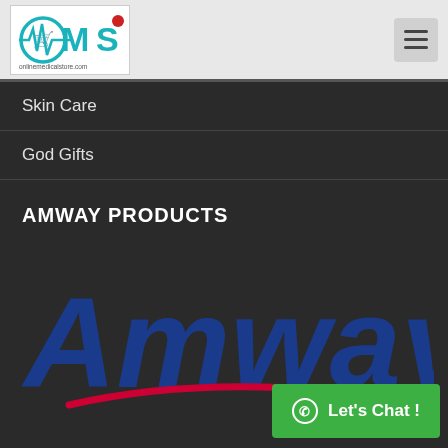[Figure (logo): OMS logo with shopping cart and heartbeat line graphic, website URL below]
Skin Care
God Gifts
AMWAY PRODUCTS
[Figure (logo): Amway logo in blue text with red swoosh underline]
Let's Chat !